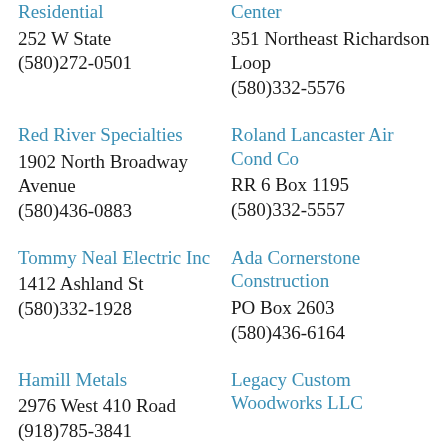Residential
252 W State
(580)272-0501
Center
351 Northeast Richardson Loop
(580)332-5576
Red River Specialties
1902 North Broadway Avenue
(580)436-0883
Roland Lancaster Air Cond Co
RR 6 Box 1195
(580)332-5557
Tommy Neal Electric Inc
1412 Ashland St
(580)332-1928
Ada Cornerstone Construction
PO Box 2603
(580)436-6164
Hamill Metals
2976 West 410 Road
(918)785-3841
Legacy Custom Woodworks LLC